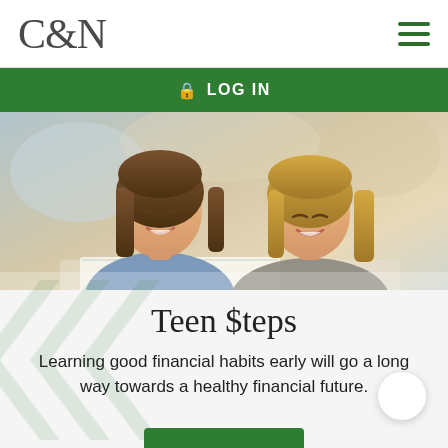C&N
LOG IN
[Figure (photo): Two young women smiling and looking at a document or laptop together outdoors]
Teen $teps
Learning good financial habits early will go a long way towards a healthy financial future.